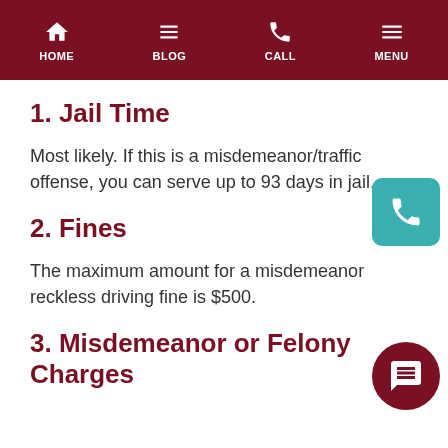HOME | BLOG | CALL | MENU
1. Jail Time
Most likely. If this is a misdemeanor/traffic offense, you can serve up to 93 days in jail.
2. Fines
The maximum amount for a misdemeanor reckless driving fine is $500.
3. Misdemeanor or Felony Charges